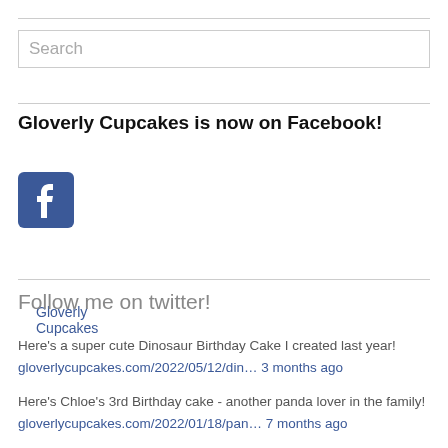[Figure (screenshot): Search input box with placeholder text 'Search']
Gloverly Cupcakes is now on Facebook!
Gloverly Cupcakes
[Figure (logo): Facebook logo icon — blue square with white 'f']
Promote your Page too
Follow me on twitter!
Here's a super cute Dinosaur Birthday Cake I created last year!
gloverlycupcakes.com/2022/05/12/din… 3 months ago
Here's Chloe's 3rd Birthday cake - another panda lover in the family!
gloverlycupcakes.com/2022/01/18/pan… 7 months ago